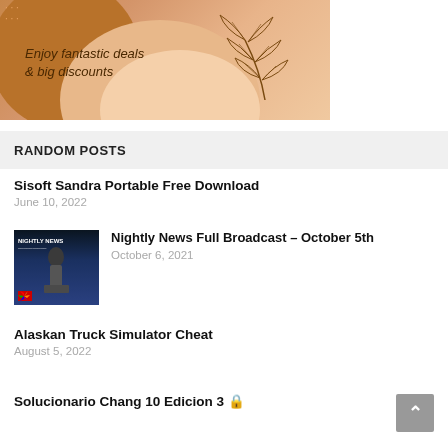[Figure (illustration): Promotional fashion banner with warm brown/peach tones, circular shapes, a model in a floral dress partially visible at top, decorative botanical leaf illustration on the right, and text 'Enjoy fantastic deals & big discounts' on the left side.]
RANDOM POSTS
Sisoft Sandra Portable Free Download
June 10, 2022
[Figure (screenshot): Thumbnail image of NBC Nightly News broadcast showing a news anchor on a blue-lit studio set with 'NIGHTLY NEWS' logo visible.]
Nightly News Full Broadcast – October 5th
October 6, 2021
Alaskan Truck Simulator Cheat
August 5, 2022
Solucionario Chang 10 Edicion 3 🔒